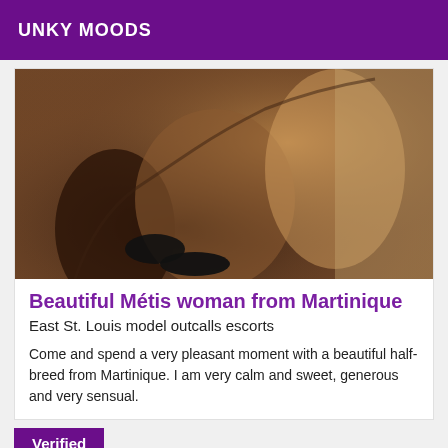UNKY MOODS
[Figure (photo): Close-up photo of a woman's legs wearing fishnet stockings and black high heels, posed against a door frame with a light-colored background.]
Beautiful Métis woman from Martinique
East St. Louis model outcalls escorts
Come and spend a very pleasant moment with a beautiful half-breed from Martinique. I am very calm and sweet, generous and very sensual.
Verified